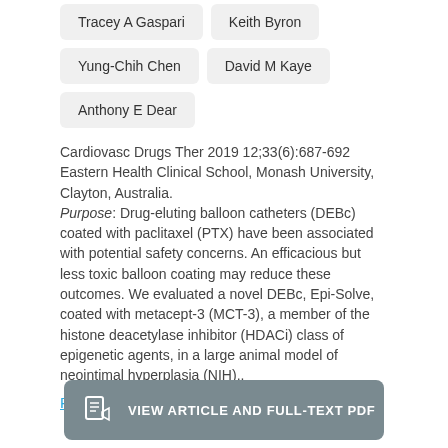Tracey A Gaspari
Keith Byron
Yung-Chih Chen
David M Kaye
Anthony E Dear
Cardiovasc Drugs Ther 2019 12;33(6):687-692 Eastern Health Clinical School, Monash University, Clayton, Australia. Purpose: Drug-eluting balloon catheters (DEBc) coated with paclitaxel (PTX) have been associated with potential safety concerns. An efficacious but less toxic balloon coating may reduce these outcomes. We evaluated a novel DEBc, Epi-Solve, coated with metacept-3 (MCT-3), a member of the histone deacetylase inhibitor (HDACi) class of epigenetic agents, in a large animal model of neointimal hyperplasia (NIH)..
Read More
VIEW ARTICLE AND FULL-TEXT PDF